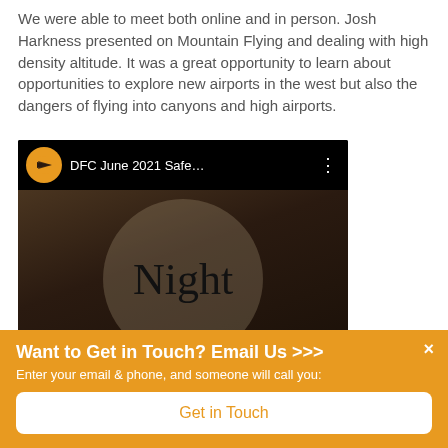We were able to meet both online and in person. Josh Harkness presented on Mountain Flying and dealing with high density altitude. It was a great opportunity to learn about opportunities to explore new airports in the west but also the dangers of flying into canyons and high airports.
[Figure (screenshot): YouTube video screenshot showing 'DFC June 2021 Safe...' with a thumbnail displaying the word 'Night' in large serif font over a dark background with a circular glow, and bullet text '• Treat it like IFR']
Want to Get in Touch? Email Us >>>
Enter your email & phone, and someone will call you:
Get in Touch